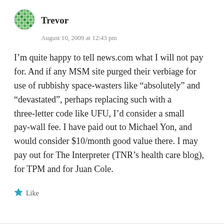[Figure (illustration): Green circular mosaic/grid avatar icon for user Trevor]
Trevor
August 10, 2009 at 12:43 pm
I'm quite happy to tell news.com what I will not pay for. And if any MSM site purged their verbiage for use of rubbishy space-wasters like “absolutely” and “devastated”, perhaps replacing such with a three-letter code like UFU, I’d consider a small pay-wall fee. I have paid out to Michael Yon, and would consider $10/month good value there. I may pay out for The Interpreter (TNR’s health care blog), for TPM and for Juan Cole.
Like